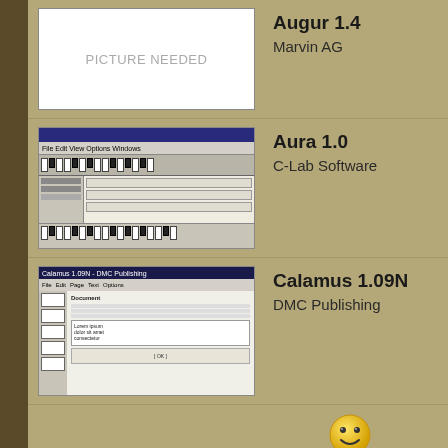Augur 1.4 / Marvin AG
Aura 1.0 / C-Lab Software
Calamus 1.09N / DMC Publishing
[Figure (illustration): Yellow smiley face emoji]
Carpet Designer / [no publisher]
Cranach Paint / Binova
Cranach Studio 1.2 / Binova